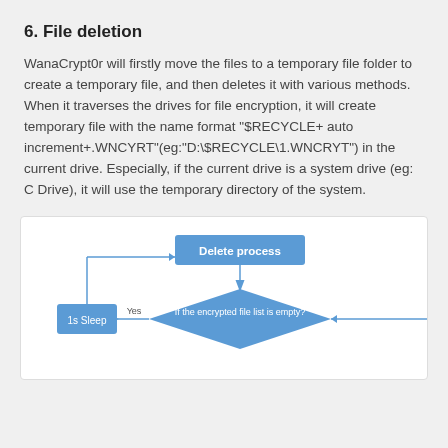6. File deletion
WanaCrypt0r will firstly move the files to a temporary file folder to create a temporary file, and then deletes it with various methods. When it traverses the drives for file encryption, it will create temporary file with the name format "$RECYCLE+ auto increment+.WNCYRT"(eg:"D:\$RECYCLE\1.WNCRYT") in the current drive. Especially, if the current drive is a system drive (eg: C Drive), it will use the temporary directory of the system.
[Figure (flowchart): Flowchart showing the delete process. A 'Delete process' box at top connects via arrow down to a diamond decision node 'If the encrypted file list is empty?'. If Yes (left), goes to '1s Sleep' box which loops back up to the Delete process. The right side of the diamond has an arrow going right (cut off).]